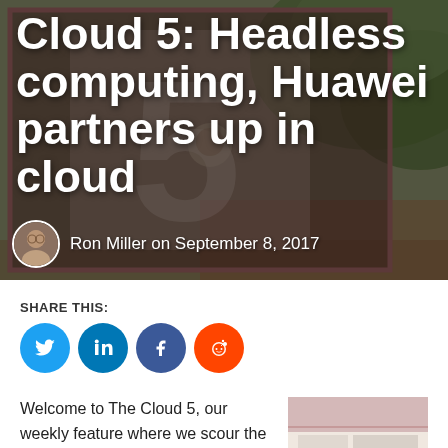[Figure (photo): Hero background photo of a wooden sign with a number 5, with green foliage in the background]
Cloud 5: Headless computing, Huawei partners up in cloud
Ron Miller on September 8, 2017
SHARE THIS:
[Figure (infographic): Social share icons: Twitter (blue), LinkedIn (blue), Facebook (dark blue), Reddit (orange)]
Welcome to The Cloud 5, our weekly feature where we scour the web searching for the five most
[Figure (photo): Small thumbnail image related to article content]